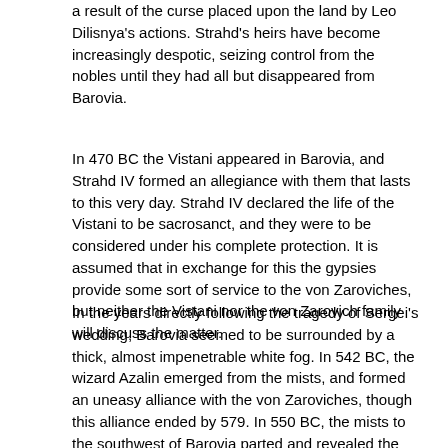a result of the curse placed upon the land by Leo Dilisnya's actions. Strahd's heirs have become increasingly despotic, seizing control from the nobles until they had all but disappeared from Barovia.
In 470 BC the Vistani appeared in Barovia, and Strahd IV formed an allegiance with them that lasts to this very day. Strahd IV declared the life of the Vistani to be sacrosanct, and they were to be considered under his complete protection. It is assumed that in exchange for this the gypsies provide some sort of service to the von Zaroviches, but neither the Vistani nor the von Zarovich family will discuss the matter.
In the years directly following the tragedy of Sergei's wedding, Barovia seemed to be surrounded by a thick, almost impenetrable white fog. In 542 BC, the wizard Azalin emerged from the mists, and formed an uneasy alliance with the von Zaroviches, though this alliance ended by 579. In 550 BC, the mists to the southwest of Barovia parted and revealed the land of Forlorn. In 585, the mists to the south parted to reveal the blasted landscape of Bluetspur. In 593, the western border revealed the nation of Gundarak, believed by many Barovians to be inhabited by the descendants of the Neureni. In 684, the mists to the northwest parted to reveal the nation of Borca, ruled by the descendants of Leo Dilisnya. To the north of Barovia, the nation of Markovia was revealed in 698 BC. To the east, Hazlan was revealed by the mists in 714. And in 715, the nation of Dorvinia appeared to the northwest, between Borca and Markovia, also ruled by Leo's descendants. Rumors spread of other nations beyond the borders of Barovia's